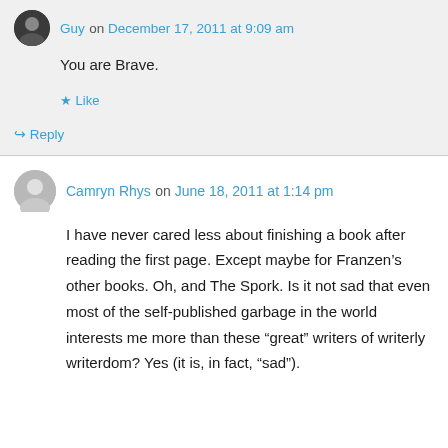Guy on December 17, 2011 at 9:09 am
You are Brave.
★ Like
↳ Reply
Camryn Rhys on June 18, 2011 at 1:14 pm
I have never cared less about finishing a book after reading the first page. Except maybe for Franzen's other books. Oh, and The Spork. Is it not sad that even most of the self-published garbage in the world interests me more than these “great” writers of writerly writerdom? Yes (it is, in fact, “sad”).